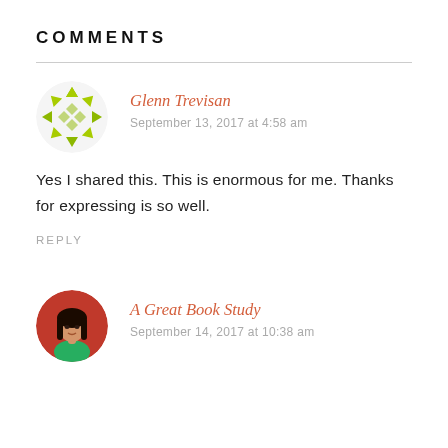COMMENTS
Glenn Trevisan
September 13, 2017 at 4:58 am
Yes I shared this. This is enormous for me. Thanks for expressing is so well.
REPLY
A Great Book Study
September 14, 2017 at 10:38 am